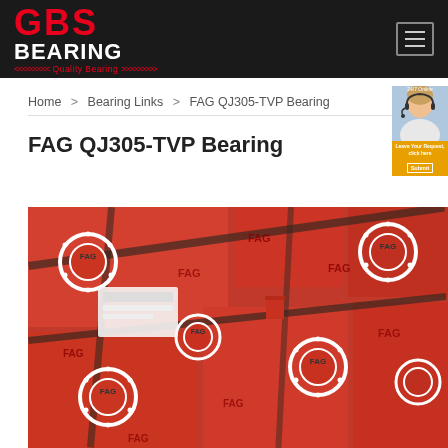GBS BEARING - Quality Bearing
Home > Bearing Links > FAG QJ305-TVP Bearing
FAG QJ305-TVP Bearing
[Figure (photo): Multiple red FAG branded bearing boxes piled together showing FAG logo and circular bearing symbols on packaging]